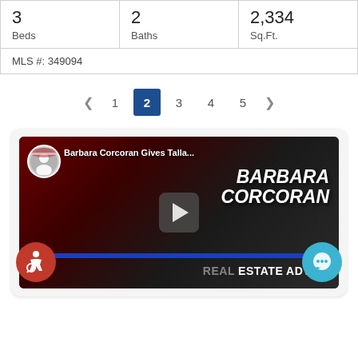| Beds | Baths | Sq.Ft. |
| --- | --- | --- |
| 3 | 2 | 2,334 |
MLS #: 349094
< 1 2 3 4 5 >
[Figure (screenshot): Video thumbnail for 'Barbara Corcoran Gives Talla...' showing Barbara Corcoran with text BARBARA CORCORAN REAL ESTATE ADVICE and a play button overlay]